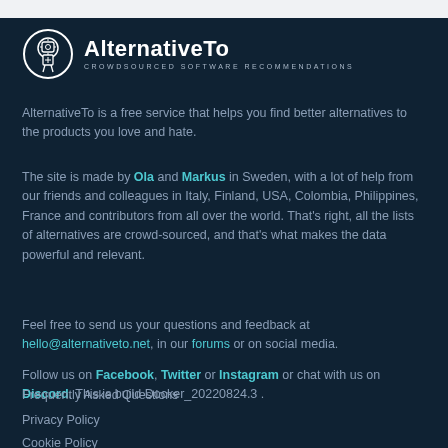[Figure (logo): AlternativeTo logo — circular icon with a robot/figure silhouette and crosshair, followed by bold text 'AlternativeTo' and tagline 'CROWDSOURCED SOFTWARE RECOMMENDATIONS']
AlternativeTo is a free service that helps you find better alternatives to the products you love and hate.
The site is made by Ola and Markus in Sweden, with a lot of help from our friends and colleagues in Italy, Finland, USA, Colombia, Philippines, France and contributors from all over the world. That's right, all the lists of alternatives are crowd-sourced, and that's what makes the data powerful and relevant.
Feel free to send us your questions and feedback at hello@alternativeto.net, in our forums or on social media.
Follow us on Facebook, Twitter or Instagram or chat with us on Discord. This is build Docker_20220824.3 .
Frequently Asked Questions
Privacy Policy
Cookie Policy